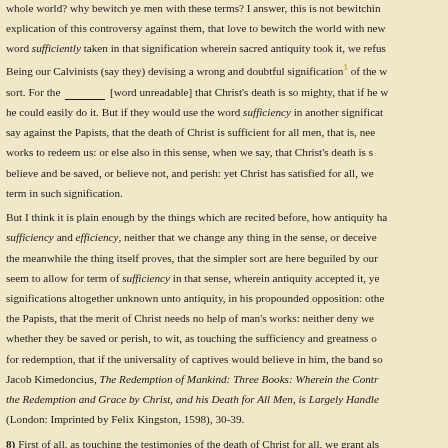whole world? why bewitch ye men with these terms? I answer, this is not bewitching explication of this controversy against them, that love to bewitch the world with new word sufficiently taken in that signification wherein sacred antiquity took it, we refus
Being our Calvinists (say they) devising a wrong and doubtful signification[1] of the w sort. For the ___ [word unreadable] that Christ's death is so mighty, that if he w he could easily do it. But if they would use the word sufficiency in another significat say against the Papists, that the death of Christ is sufficient for all men, that is, nee works to redeem us: or else also in this sense, when we say, that Christ's death is s believe and be saved, or believe not, and perish: yet Christ has satisfied for all, we term in such signification.
But I think it is plain enough by the things which are recited before, how antiquity ha sufficiency and efficiency, neither that we change any thing in the sense, or deceive the meanwhile the thing itself proves, that the simpler sort are here beguiled by our seem to allow for term of sufficiency in that sense, wherein antiquity accepted it, ye significations altogether unknown unto antiquity, in his propounded opposition: othe the Papists, that the merit of Christ needs no help of man's works: neither deny we whether they be saved or perish, to wit, as touching the sufficiency and greatness o for redemption, that if the universality of captives would believe in him, the band so Jacob Kimedoncius, The Redemption of Mankind: Three Books: Wherein the Contr the Redemption and Grace by Christ, and his Death for All Men, is Largely Handle (London: Imprinted by Felix Kingston, 1598), 30-39.
8) First of all, as touching the testimonies of the death of Christ for all, we grant als suffered and died for all men, as many has have been, are, and shall be. What ther and everyone, whether they believe, or not believe, are in very deed reconciled, jus saved, and that all judgement and wrath of God is truly and properly taken away in are set free from all sin and condemnation undoubtedly, and received as sons into Jacob Kimedoncius, The Redemption of Mankind: Three Books: Wherein the Cont